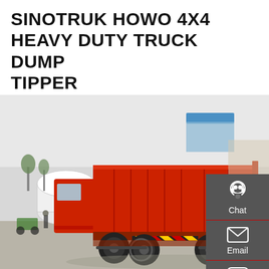SINOTRUK HOWO 4X4 HEAVY DUTY TRUCK DUMP TIPPER
[Figure (photo): A red Sinotruk HOWO 4x4 heavy duty dump tipper truck photographed outdoors in a yard. The truck faces away from the viewer showing its large red dump bed with reinforced panels and chevron safety markings on the rear bumper. Several people and vehicles are visible in the background.]
Chat
Email
Contact